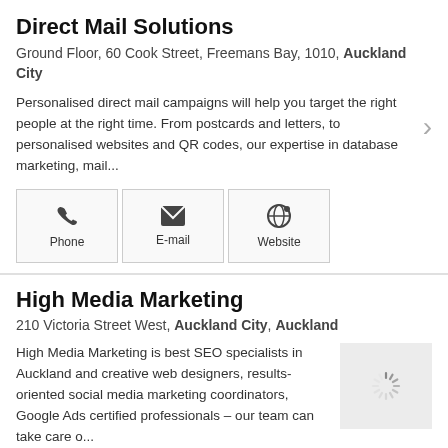Direct Mail Solutions
Ground Floor, 60 Cook Street, Freemans Bay, 1010, Auckland City
Personalised direct mail campaigns will help you target the right people at the right time. From postcards and letters, to personalised websites and QR codes, our expertise in database marketing, mail...
[Figure (infographic): Contact buttons: Phone, E-mail, Website]
High Media Marketing
210 Victoria Street West, Auckland City, Auckland
High Media Marketing is best SEO specialists in Auckland and creative web designers, results-oriented social media marketing coordinators, Google Ads certified professionals – our team can take care o...
[Figure (photo): Loading spinner image placeholder]
Verified   +3 Years with us
[Figure (infographic): Contact buttons: Phone, E-mail, Website, Photos 1]